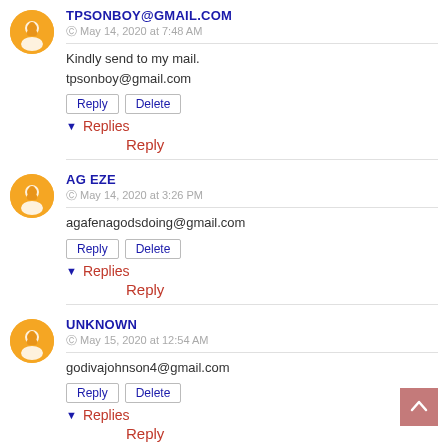TPSONBOY@GMAIL.COM
May 14, 2020 at 7:48 AM
Kindly send to my mail.
tpsonboy@gmail.com
Reply | Delete
▾ Replies
Reply
AG EZE
May 14, 2020 at 3:26 PM
agafenagodsdoing@gmail.com
Reply | Delete
▾ Replies
Reply
UNKNOWN
May 15, 2020 at 12:54 AM
godivajohnson4@gmail.com
Reply | Delete
▾ Replies
Reply